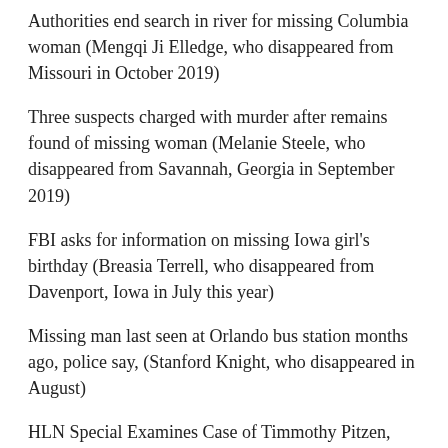Authorities end search in river for missing Columbia woman (Mengqi Ji Elledge, who disappeared from Missouri in October 2019)
Three suspects charged with murder after remains found of missing woman (Melanie Steele, who disappeared from Savannah, Georgia in September 2019)
FBI asks for information on missing Iowa girl's birthday (Breasia Terrell, who disappeared from Davenport, Iowa in July this year)
Missing man last seen at Orlando bus station months ago, police say, (Stanford Knight, who disappeared in August)
HLN Special Examines Case of Timmothy Pitzen, Missing Boy Whose Mom Wrote Taunting Suicide Note